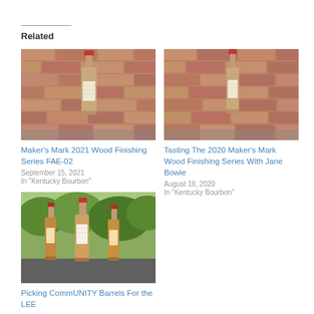Related
[Figure (photo): Photo of a Maker's Mark bourbon bottle on a table in front of a brick wall]
Maker's Mark 2021 Wood Finishing Series FAE-02
September 15, 2021
In "Kentucky Bourbon"
[Figure (photo): Photo of a Maker's Mark bourbon bottle on a table in front of a brick wall]
Tasting The 2020 Maker's Mark Wood Finishing Series With Jane Bowie
August 18, 2020
In "Kentucky Bourbon"
[Figure (photo): Photo of three Maker's Mark bourbon bottles on a table outdoors with greenery in background]
Picking CommUNITY Barrels For the LEE